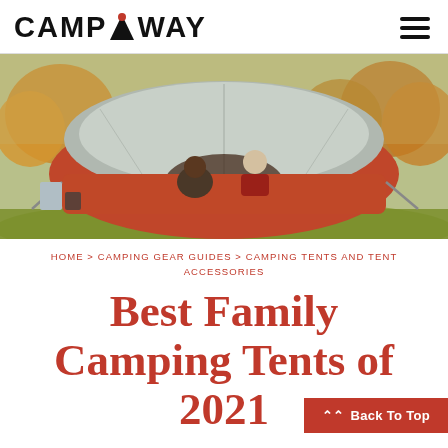CAMPAWAY
[Figure (photo): Two people sitting inside and outside a large orange and grey dome camping tent in an autumn outdoor setting near a lake with trees in background.]
HOME > CAMPING GEAR GUIDES > CAMPING TENTS AND TENT ACCESSORIES
Best Family Camping Tents of 2021